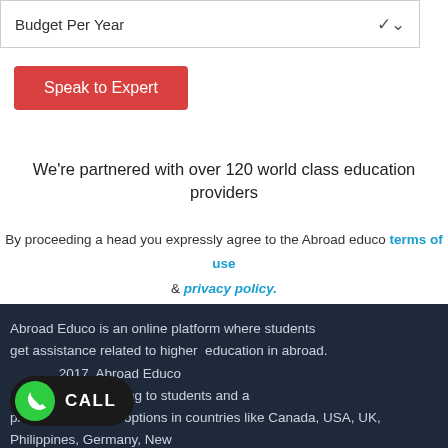[Figure (other): Dropdown selector labeled 'Budget Per Year' with a chevron/arrow on the right]
Speak to Expert
We're partnered with over 120 world class education providers
By proceeding a head you expressly agree to the Abroad educo terms of use & privacy policy.
Abroad Educo is an online platform where students get assistance related to higher education in abroad. ...2017, Abroad Educo ...counseling to students and a plethora of college options in countries like Canada, USA, UK, Philippines, Germany, New...
[Figure (other): Green circular phone call button with CALL label on dark background]